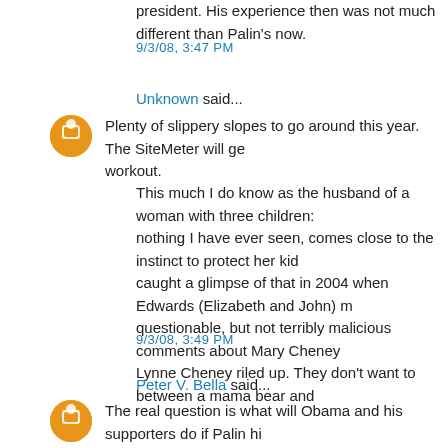president. His experience then was not much different than Palin's now.
9/3/08, 3:47 PM
Unknown said...
Plenty of slippery slopes to go around this year. The SiteMeter will get a workout.
This much I do know as the husband of a woman with three children: nothing I have ever seen, comes close to the instinct to protect her kids. I caught a glimpse of that in 2004 when Edwards (Elizabeth and John) made questionable, but not terribly malicious comments about Mary Cheney and Lynne Cheney riled up. They don't want to between a mama bear and
9/3/08, 3:49 PM
Peter V. Bella said...
The real question is what will Obama and his supporters do if Palin hits a slam tonight? Their vicious smear campaign failed, they cannot criticize her experience or qualifications, and everything else they have tried has do... What oh what will they do if she really floors that convention and ign...